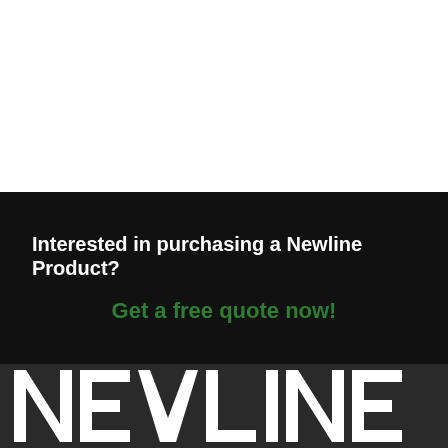Interested in purchasing a Newline Product?
Get a free quote now!
[Figure (logo): NEWLINE brand logo in white bold block letters on dark background]